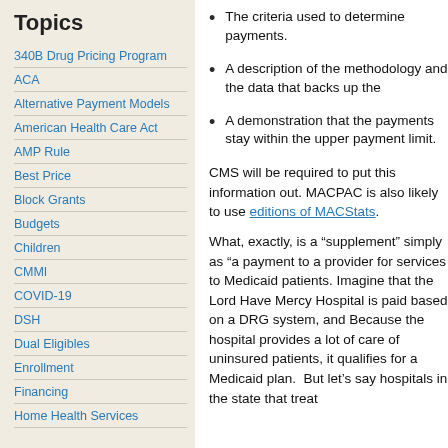Topics
340B Drug Pricing Program
ACA
Alternative Payment Models
American Health Care Act
AMP Rule
Best Price
Block Grants
Budgets
Children
CMMI
COVID-19
DSH
Dual Eligibles
Enrollment
Financing
Home Health Services
The criteria used to determine payments.
A description of the methodology and the data that backs up the payments.
A demonstration that the payments stay within the upper payment limit.
CMS will be required to put this information out. MACPAC is also likely to use it in future editions of MACStats.
What, exactly, is a “supplemental payment”? It’s defined simply as “a payment to a provider” — money to a provider for services to Medicaid patients. Imagine that the Lord Have Mercy Hospital is paid based on a DRG system, at 80% of its costs. Because the hospital provides a lot of care for uninsured patients, it qualifies for an extra Medicaid plan. But let’s say there are other hospitals in the state that treat